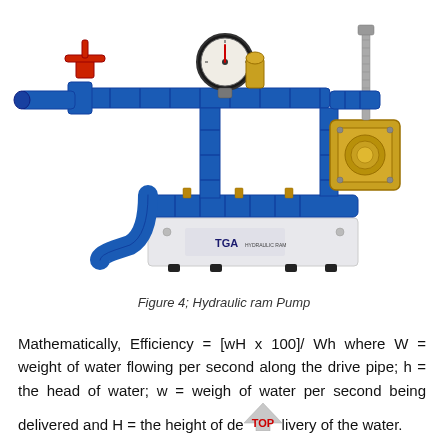[Figure (photo): Photo of a hydraulic ram pump apparatus with blue pipes, brass fittings, valves, and a white base plate mounted on black feet. A red valve handle is visible at the top left, and a brass pressure valve assembly is on the right side.]
Figure 4; Hydraulic ram Pump
Mathematically, Efficiency = [wH x 100]/ Wh where W = weight of water flowing per second along the drive pipe; h = the head of water; w = weigh of water per second being delivered and H = the height of delivery of the water.